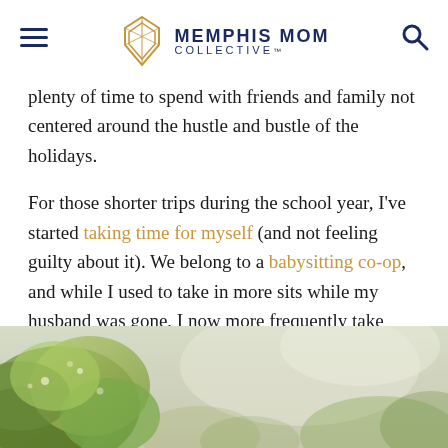Memphis Mom Collective
plenty of time to spend with friends and family not centered around the hustle and bustle of the holidays.
For those shorter trips during the school year, I've started taking time for myself (and not feeling guilty about it). We belong to a babysitting co-op, and while I used to take in more sits while my husband was gone, I now more frequently take advantage of other people watching my kids so I don't have to miss exercise class or book club. Wow, I sound like a super-exciting person and not at all boring.
[Figure (photo): Outdoor photo showing leafy trees and foliage with soft natural light, partially visible at bottom of page]